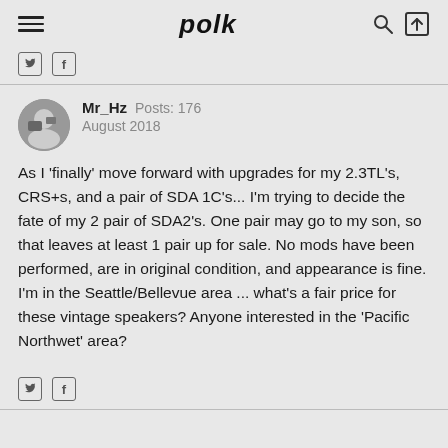polk
Mr_Hz  Posts: 176
August 2018
As I 'finally' move forward with upgrades for my 2.3TL's, CRS+s, and a pair of SDA 1C's... I'm trying to decide the fate of my 2 pair of SDA2's. One pair may go to my son, so that leaves at least 1 pair up for sale. No mods have been performed, are in original condition, and appearance is fine. I'm in the Seattle/Bellevue area ... what's a fair price for these vintage speakers? Anyone interested in the 'Pacific Northwet' area?